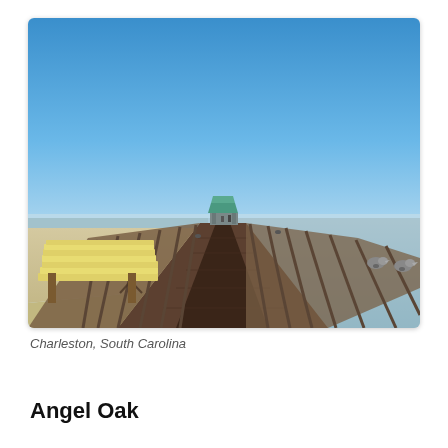[Figure (photo): A wooden fishing pier extending straight out over calm water toward the horizon, with a teal-roofed gazebo/pavilion structure at the far end. Clear blue sky dominates the upper half. Stacked lumber planks are visible on the left side of the pier. Two seagulls perch on the right railing in the foreground. The ocean is visible to the right and behind the pier. The scene is in Charleston, South Carolina.]
Charleston, South Carolina
Angel Oak